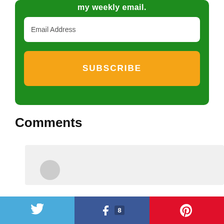[Figure (screenshot): Green subscription box with email address input field and orange SUBSCRIBE button]
Comments
[Figure (screenshot): Comment section beginning with a gray avatar and commenter name partially visible]
[Figure (screenshot): Social share bar with Twitter, Facebook (count: 8), and Pinterest buttons]